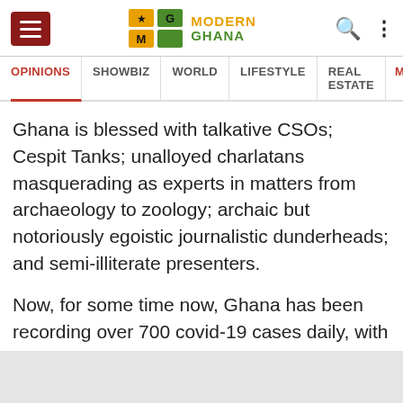Modern Ghana - OPINIONS | SHOWBIZ | WORLD | LIFESTYLE | REAL ESTATE | MEDIA
Ghana is blessed with talkative CSOs; Cespit Tanks; unalloyed charlatans masquerading as experts in matters from archaeology to zoology; archaic but notoriously egoistic journalistic dunderheads; and semi-illiterate presenters.
Now, for some time now, Ghana has been recording over 700 covid-19 cases daily, with active cases at over 8000 and total cases crossing the 80,000 mark. Yet, we're witnessing adverts on Valentine.